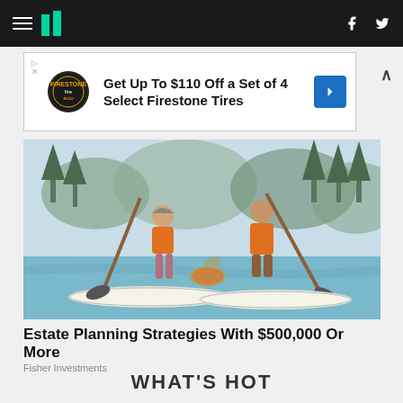HuffPost navigation header with hamburger menu, logo, Facebook and Twitter icons
[Figure (screenshot): Advertisement banner: Get Up To $110 Off a Set of 4 Select Firestone Tires, with Firestone auto logo and blue arrow icon]
[Figure (illustration): Illustration of an older couple paddle boarding on a lake with their dog, both wearing orange life vests, with forest and mountains in background]
Estate Planning Strategies With $500,000 Or More
Fisher Investments
WHAT'S HOT